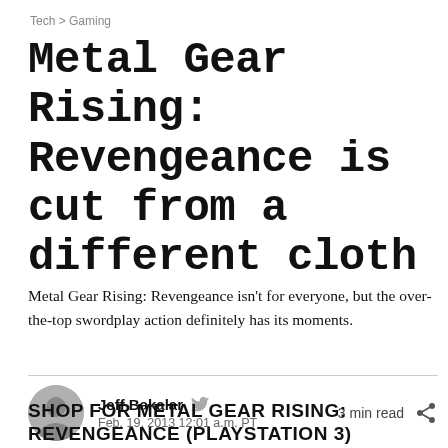Tech > Gaming
Metal Gear Rising: Revengeance is cut from a different cloth
Metal Gear Rising: Revengeance isn't for everyone, but the over-the-top swordplay action definitely has its moments.
Jeff Bakalar  Feb. 19, 2013 12:01 a.m. PT   3 min read
SHOP FOR METAL GEAR RISING: REVENGEANCE (PLAYSTATION 3)